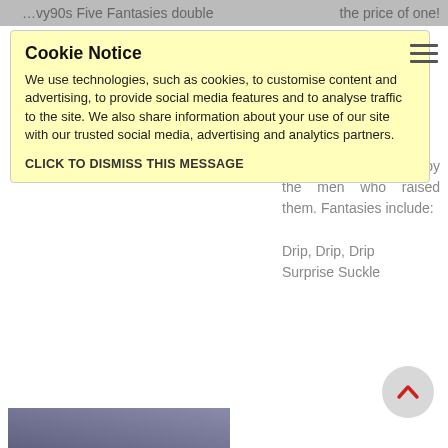...vy90s Five Fantasies double ... the price of one!
Cookie Notice
We use technologies, such as cookies, to customise content and advertising, to provide social media features and to analyse traffic to the site. We also share information about your use of our site with our trusted social media, advertising and analytics partners.
CLICK TO DISMISS THIS MESSAGE
[Figure (illustration): Book cover showing 'Creamy Brats Older Men' with dark background]
Creamy Brats, Older Men...
5 is yet another of 5 deliciously stories overflowing lky swollen brats be suckled and taken for the very first time by the men who raised them. Fantasies include:
Drip, Drip, Drip
Surprise Suckle
Give Me Your Milk
Two For One
Cream Of Brat
Better bring a raincoat, because things are about to get wet with Daddy!
The Author / Publisher advised that this title was available for £0.99 (or local equivalent), discounted from £2.99 on 19/4/2019...